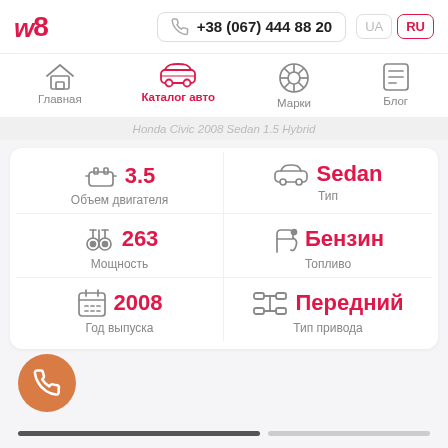w8 | +38 (067) 444 88 20 | UA | RU
Главная | Каталог авто | Марки | Блог
Honda Civic 2008 Sedan 1.5 Hybrid
| Параметр | Значение |
| --- | --- |
| Объем двигателя | 3.5 |
| Тип | Sedan |
| Мощность | 263 |
| Топливо | Бензин |
| Год выпуска | 2008 |
| Тип привода | Передний |